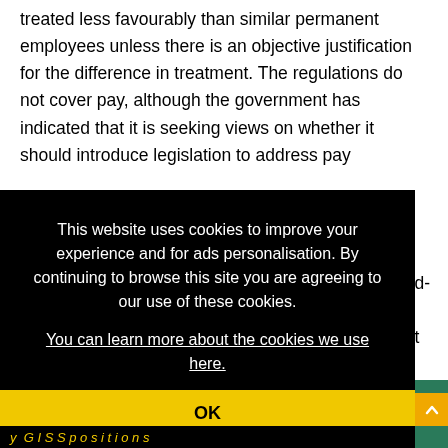treated less favourably than similar permanent employees unless there is an objective justification for the difference in treatment. The regulations do not cover pay, although the government has indicated that it is seeking views on whether it should introduce legislation to address pay
This website uses cookies to improve your experience and for ads personalisation. By continuing to browse this site you are agreeing to our use of these cookies. You can learn more about the cookies we use here.
OK